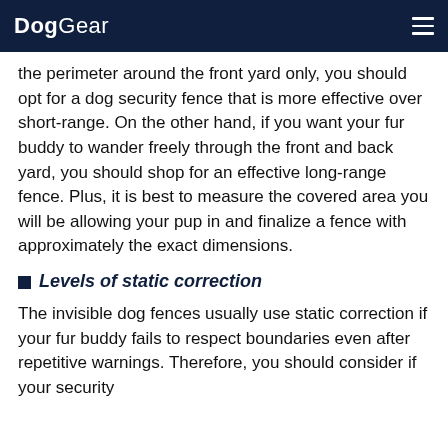DogGear
the perimeter around the front yard only, you should opt for a dog security fence that is more effective over short-range. On the other hand, if you want your fur buddy to wander freely through the front and back yard, you should shop for an effective long-range fence. Plus, it is best to measure the covered area you will be allowing your pup in and finalize a fence with approximately the exact dimensions.
Levels of static correction
The invisible dog fences usually use static correction if your fur buddy fails to respect boundaries even after repetitive warnings. Therefore, you should consider if your security